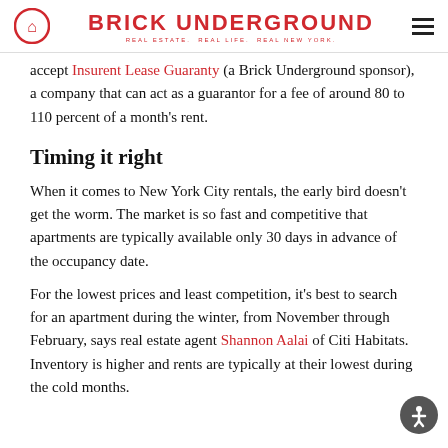BRICK UNDERGROUND | REAL ESTATE. REAL LIFE. REAL NEW YORK.
accept Insurent Lease Guaranty (a Brick Underground sponsor), a company that can act as a guarantor for a fee of around 80 to 110 percent of a month's rent.
Timing it right
When it comes to New York City rentals, the early bird doesn't get the worm. The market is so fast and competitive that apartments are typically available only 30 days in advance of the occupancy date.
For the lowest prices and least competition, it's best to search for an apartment during the winter, from November through February, says real estate agent Shannon Aalai of Citi Habitats. Inventory is higher and rents are typically at their lowest during the cold months.